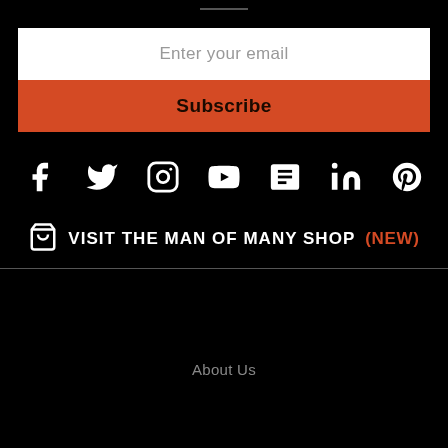[Figure (infographic): Horizontal divider line on black background]
Enter your email
Subscribe
[Figure (infographic): Social media icons: Facebook, Twitter, Instagram, YouTube, News/RSS, LinkedIn, Pinterest on black background]
VISIT THE MAN OF MANY SHOP (NEW)
About Us